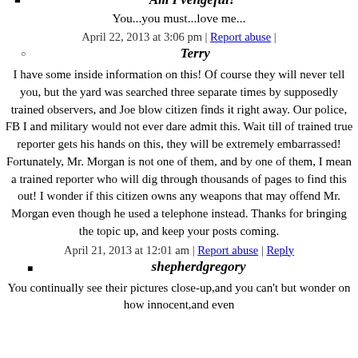Am I vengeful?
You...you must...love me...
April 22, 2013 at 3:06 pm | Report abuse |
Terry
I have some inside information on this! Of course they will never tell you, but the yard was searched three separate times by supposedly trained observers, and Joe blow citizen finds it right away. Our police, FB I and military would not ever dare admit this. Wait till of trained true reporter gets his hands on this, they will be extremely embarrassed! Fortunately, Mr. Morgan is not one of them, and by one of them, I mean a trained reporter who will dig through thousands of pages to find this out! I wonder if this citizen owns any weapons that may offend Mr. Morgan even though he used a telephone instead. Thanks for bringing the topic up, and keep your posts coming.
April 21, 2013 at 12:01 am | Report abuse | Reply
shepherdgregory
You continually see their pictures close-up,and you can't but wonder on how innocent,and even